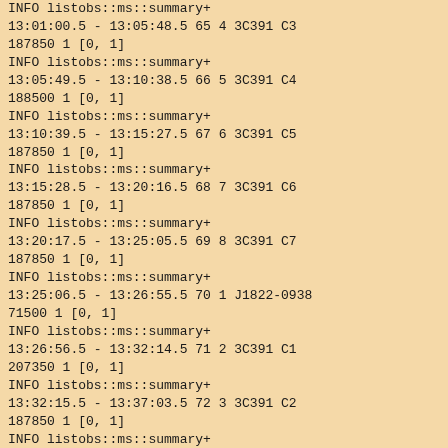INFO    listobs::ms::summary+
13:01:00.5 - 13:05:48.5    65         4 3C391 C3
187850  1              [0, 1]
INFO    listobs::ms::summary+
13:05:49.5 - 13:10:38.5    66         5 3C391 C4
188500  1              [0, 1]
INFO    listobs::ms::summary+
13:10:39.5 - 13:15:27.5    67         6 3C391 C5
187850  1              [0, 1]
INFO    listobs::ms::summary+
13:15:28.5 - 13:20:16.5    68         7 3C391 C6
187850  1              [0, 1]
INFO    listobs::ms::summary+
13:20:17.5 - 13:25:05.5    69         8 3C391 C7
187850  1              [0, 1]
INFO    listobs::ms::summary+
13:25:06.5 - 13:26:55.5    70         1 J1822-0938
71500   1              [0, 1]
INFO    listobs::ms::summary+
13:26:56.5 - 13:32:14.5    71         2 3C391 C1
207350  1              [0, 1]
INFO    listobs::ms::summary+
13:32:15.5 - 13:37:03.5    72         3 3C391 C2
187850  1              [0, 1]
INFO    listobs::ms::summary+
13:37:04.5 - 13:41:52.5    73         4 3C391 C3
187850  1              [0, 1]
INFO    listobs::ms::summary+
13:41:53.5 - 13:46:42.5    74         5 3C391 C4
188500  1              [0, 1]
INFO    listobs::ms::summary+
13:46:43.5 - 13:51:31.5    75         6 3C391 C5